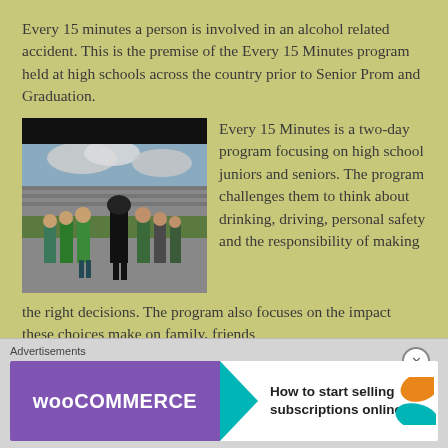Every 15 minutes a person is involved in an alcohol related accident.  This is the premise of the Every 15 Minutes program held at high schools across the country prior to Senior Prom and Graduation.
[Figure (photo): Outdoor photo of students standing in a line on a field or parking lot, one person dressed in a black grim reaper costume, others in green shirts, with cloudy sky and bleachers in the background.]
Every 15 Minutes is a two-day program focusing on high school juniors and seniors. The program challenges them to think about drinking, driving, personal safety and the responsibility of making the right decisions.  The program also focuses on the impact these choices make on family, friends
Advertisements
[Figure (screenshot): WooCommerce advertisement banner: purple background with WooCommerce logo, teal arrow pointing right, text reading 'How to start selling subscriptions online', with orange and teal decorative swoosh shapes.]